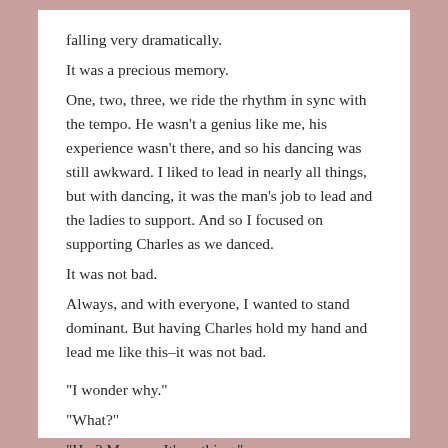falling very dramatically.
It was a precious memory.
One, two, three, we ride the rhythm in sync with the tempo. He wasn’t a genius like me, his experience wasn’t there, and so his dancing was still awkward. I liked to lead in nearly all things, but with dancing, it was the man’s job to lead and the ladies to support. And so I focused on supporting Charles as we danced.
It was not bad.
Always, and with everyone, I wanted to stand dominant. But having Charles hold my hand and lead me like this–it was not bad.
“I wonder why.”
“What?”
“Hm? Mmm… It’s nothing.”
“What’s that?”